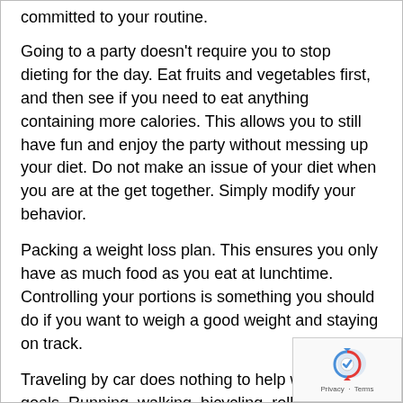committed to your routine.
Going to a party doesn't require you to stop dieting for the day. Eat fruits and vegetables first, and then see if you need to eat anything containing more calories. This allows you to still have fun and enjoy the party without messing up your diet. Do not make an issue of your diet when you are at the get together. Simply modify your behavior.
Packing a weight loss plan. This ensures you only have as much food as you eat at lunchtime. Controlling your portions is something you should do if you want to weigh a good weight and staying on track.
Traveling by car does nothing to help weight loss goals. Running, walking, bicycling, rollerblading and other physical methods of travel will burn calories. These calories get built up in the body during the day and are stored there. Burning these calories immediately will help you lose weight and keep it off.